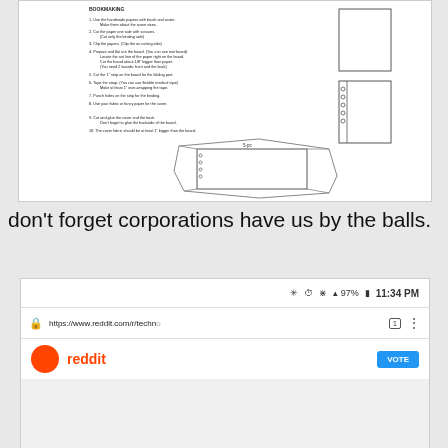[Figure (other): Scanned document page showing bookbinding instructions with numbered steps and diagrams of book covers and binding holes]
don't forget corporations have us by the balls.
[Figure (screenshot): Mobile browser screenshot showing Reddit URL https://www.reddit.com/r/techn/ with status bar showing 97% battery, 11:34 PM, Bluetooth, alarm, WiFi icons and Reddit logo at bottom]